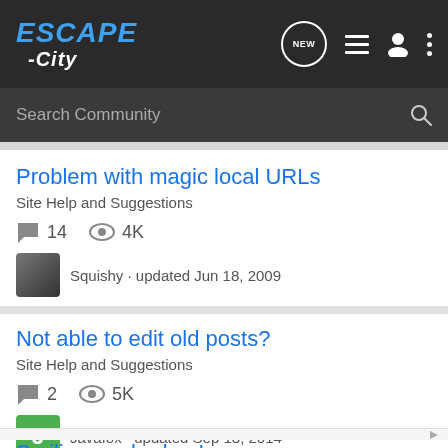ESCAPE -City
Search Community
Problem with magic local URLs
Site Help and Suggestions
14 replies · 4K views
Squishy · updated Jun 18, 2009
Not able to edit old posts?
Site Help and Suggestions
2 replies · 5K views
Javafox · updated Sep 13, 2014
Smilies are broken!